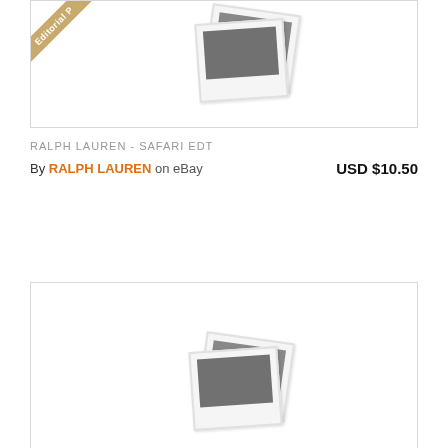[Figure (photo): Product listing card for Ralph Lauren Safari EDT with editorial badge and two overlapping polaroid-style placeholder photos]
RALPH LAUREN - SAFARI EDT
By RALPH LAUREN on eBay   USD $10.50
[Figure (photo): Product listing card for Safari Ralph Lauren Cologne Perfume with two overlapping polaroid-style placeholder photos]
SAFARI RALPH LAUREN COLOGNE PERFUME
By RALPH LAUREN on eBay   USD $11.87